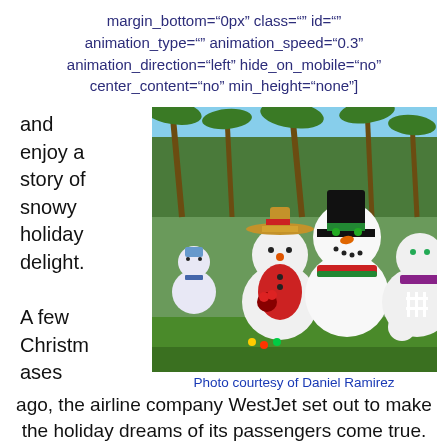margin_bottom="0px" class="" id="" animation_type="" animation_speed="0.3" animation_direction="left" hide_on_mobile="no" center_content="no" min_height="none"]
and enjoy a story of snowy holiday delight.
[Figure (photo): Outdoor display of large snowman figures/decorations in front of palm trees, in a sunny setting. Several colorful snowman characters including one with a top hat, one with a straw hat and red vest, and others.]
Photo courtesy of Daniel Ramirez
A few Christmases ago, the airline company WestJet set out to make the holiday dreams of its passengers come true. By gathering together 175 volunteers, WestJet was